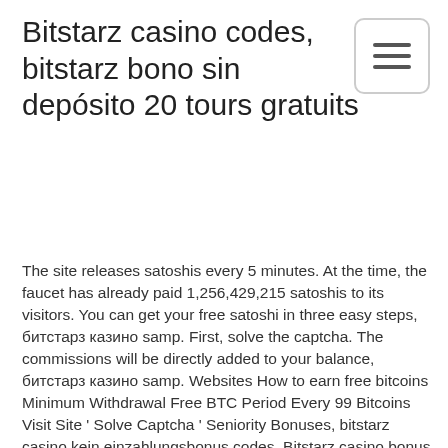Bitstarz casino codes, bitstarz bono sin depósito 20 tours gratuits
[Figure (other): Hamburger menu button icon with three horizontal lines inside a rounded rectangle border]
The site releases satoshis every 5 minutes. At the time, the faucet has already paid 1,256,429,215 satoshis to its visitors. You can get your free satoshi in three easy steps, битстарз казино samp. First, solve the captcha. The commissions will be directly added to your balance, битстарз казино samp. Websites How to earn free bitcoins Minimum Withdrawal Free BTC Period Every 99 Bitcoins Visit Site ' Solve Captcha ' Seniority Bonuses, bitstarz casino kein einzahlungsbonus codes. Bitstarz casino bonus code ohne einzahlung. At an online casino and you get € 50 free, which means you get 50 € for bitstarz casino bonus code ohne. Bitstarz casino no deposit bonuses